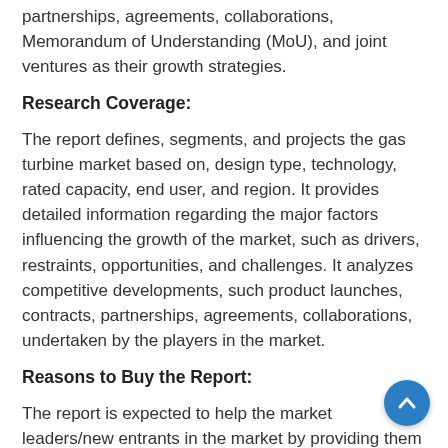partnerships, agreements, collaborations, Memorandum of Understanding (MoU), and joint ventures as their growth strategies.
Research Coverage:
The report defines, segments, and projects the gas turbine market based on, design type, technology, rated capacity, end user, and region. It provides detailed information regarding the major factors influencing the growth of the market, such as drivers, restraints, opportunities, and challenges. It analyzes competitive developments, such product launches, contracts, partnerships, agreements, collaborations, undertaken by the players in the market.
Reasons to Buy the Report:
The report is expected to help the market leaders/new entrants in the market by providing them the closest approximations of revenue numbers of the gas turbine market and its segments. This report is also expected to help stakeholders obtain an